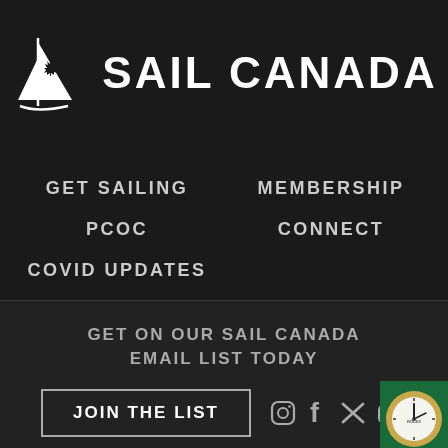[Figure (logo): Sail Canada logo: white sailing boat icon with maple leaf motif and text SAIL CANADA in bold white capital letters]
GET SAILING
MEMBERSHIP
PCOC
CONNECT
COVID UPDATES
GET ON OUR SAIL CANADA EMAIL LIST TODAY
JOIN THE LIST
[Figure (logo): Social media icons: Instagram, Facebook, Twitter/X, YouTube in white]
[Figure (logo): Rolex watch logo badge in green and gold with clock face, bottom-right corner]